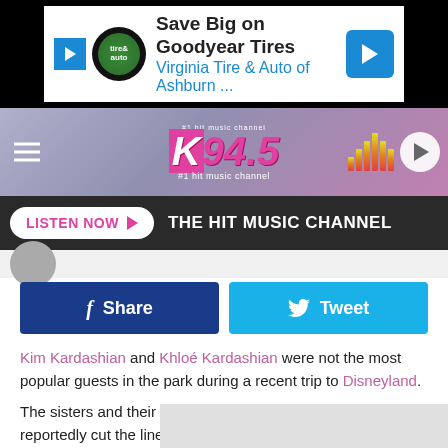[Figure (screenshot): Advertisement banner for Virginia Tire & Auto of Ashburn with Goodyear Tires text]
[Figure (logo): K94.5 #1 Hit Music Channel radio station logo header with hamburger menu and play button]
LISTEN NOW ▶   THE HIT MUSIC CHANNEL
f Share   🐦 Tweet
Kim Kardashian and Khloé Kardashian were not the most popular guests in the park during a recent trip to Disneyland.
The sisters and their family caused a stir when they reportedly cut the line for the popular Alice in Wonderland-themed Mad Tea Party ride. Making matters worse for fellow parkgoers, the group rode the attraction on their own as others